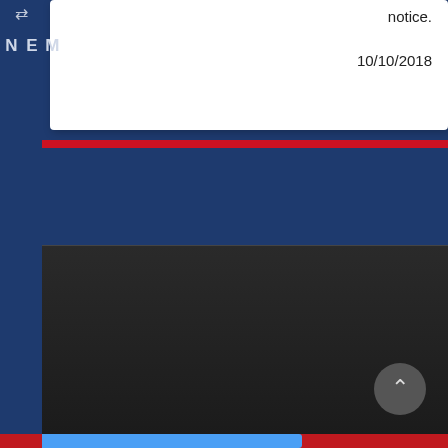notice.
10/10/2018
[Figure (screenshot): Website UI screenshot showing a left sidebar with navigation arrows and MENU text in vertical orientation, a white card with 'notice.' and '10/10/2018' text, a red stripe separator, a blue background section, and a dark bottom section with a scroll button and up-arrow circle button. A progress bar is visible at the bottom.]